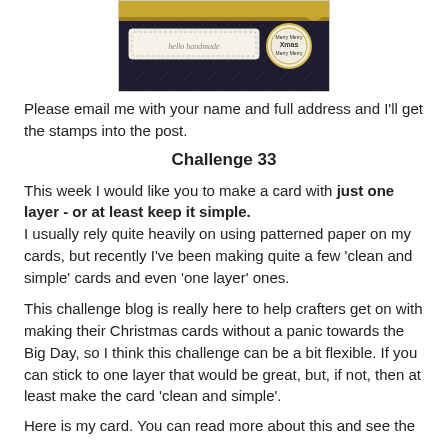[Figure (photo): A photograph of a decorative card or tag with patterned dark background, a cream/white label strip, and a circular Merry Christmas Xmas seal/sticker in gold tones.]
Please email me with your name and full address and I'll get the stamps into the post.
Challenge 33
This week I would like you to make a card with just one layer - or at least keep it simple.
I usually rely quite heavily on using patterned paper on my cards, but recently I've been making quite a few 'clean and simple' cards and even 'one layer' ones.
This challenge blog is really here to help crafters get on with making their Christmas cards without a panic towards the Big Day, so I think this challenge can be a bit flexible. If you can stick to one layer that would be great, but, if not, then at least make the card 'clean and simple'.
Here is my card. You can read more about this and see the